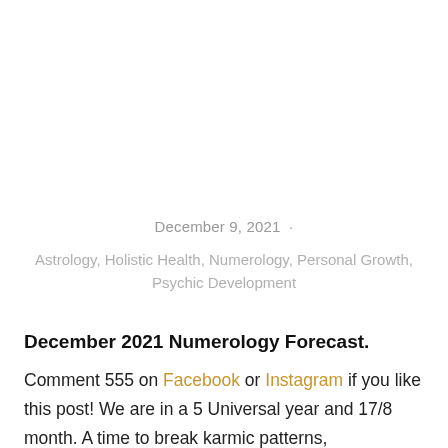December 9, 2021
Astrology, Holistic Health, Numerology, Personal Growth, Psychic Development
December 2021 Numerology Forecast.
Comment 555 on Facebook or Instagram if you like this post! We are in a 5 Universal year and 17/8 month. A time to break karmic patterns,